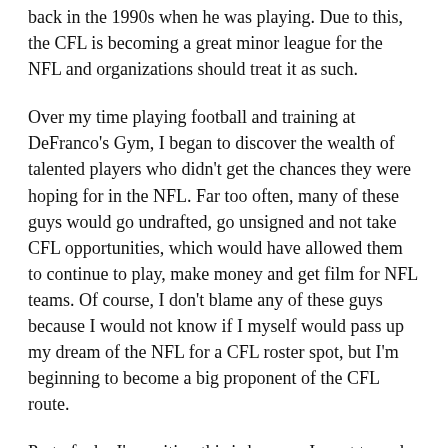back in the 1990s when he was playing. Due to this, the CFL is becoming a great minor league for the NFL and organizations should treat it as such.
Over my time playing football and training at DeFranco's Gym, I began to discover the wealth of talented players who didn't get the chances they were hoping for in the NFL. Far too often, many of these guys would go undrafted, go unsigned and not take CFL opportunities, which would have allowed them to continue to play, make money and get film for NFL teams. Of course, I don't blame any of these guys because I would not know if I myself would pass up my dream of the NFL for a CFL roster spot, but I'm beginning to become a big proponent of the CFL route.
Part of why I'm writing this is because I want to make sure other young agents don't make the same mistakes I've seen with letting guys pass up chances in the CFL, then missing out on NFL chances. The reason I decided to become an agent is because I hate seeing talented players not get an